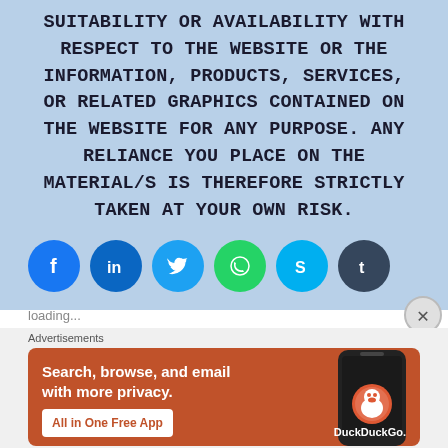SUITABILITY OR AVAILABILITY WITH RESPECT TO THE WEBSITE OR THE INFORMATION, PRODUCTS, SERVICES, OR RELATED GRAPHICS CONTAINED ON THE WEBSITE FOR ANY PURPOSE. ANY RELIANCE YOU PLACE ON THE MATERIAL/S IS THEREFORE STRICTLY TAKEN AT YOUR OWN RISK.
[Figure (infographic): Social share buttons: Facebook (blue), LinkedIn (blue), Twitter (light blue), WhatsApp (green), Skype (cyan), Tumblr (dark blue)]
Loading...
[Figure (screenshot): DuckDuckGo advertisement banner: Search, browse, and email with more privacy. All in One Free App. Shows a phone with DuckDuckGo logo.]